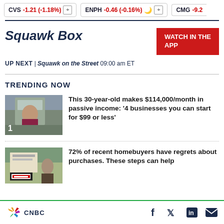CVS -1.21 (-1.18%) | ENPH -0.46 (-0.16%) | CMG -9.2...
Squawk Box
WATCH IN THE APP
UP NEXT | Squawk on the Street 09:00 am ET
TRENDING NOW
This 30-year-old makes $114,000/month in passive income: '4 businesses you can start for $99 or less'
72% of recent homebuyers have regrets about purchases. These steps can help
CNBC